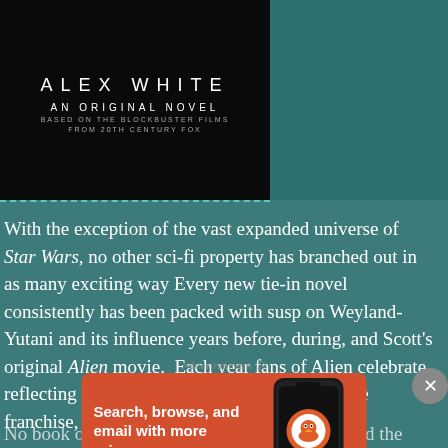[Figure (photo): Book cover showing ALEX WHITE / AN ORIGINAL NOVEL / BASED ON THE BLOCKBUSTER FILMS FROM 20TH CENTURY FOX on dark background]
With the exception of the vast expanded universe of Star Wars, no other sci-fi property has branched out in as many exciting ways. Every new tie-in novel consistently has been packed with suspense on Weyland-Yutani and its influence years before, during, and after Scott's original Alien movie. Each year fans of Alien celebrate A, reflecting not a specific day in the history of the franchise, but a moon in the film Aliens: LV426.
No book or film has portrayed the people behind the Weyland...
[Figure (screenshot): DuckDuckGo advertisement banner: Search, browse, and email with more privacy. All in One Free App. Shows phone with DuckDuckGo logo.]